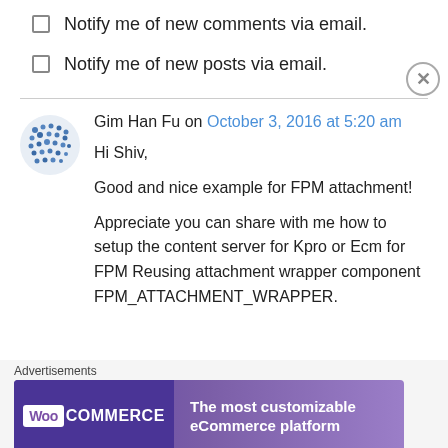Notify me of new comments via email.
Notify me of new posts via email.
Gim Han Fu on October 3, 2016 at 5:20 am
Hi Shiv,

Good and nice example for FPM attachment!

Appreciate you can share with me how to setup the content server for Kpro or Ecm for FPM Reusing attachment wrapper component FPM_ATTACHMENT_WRAPPER.
Advertisements
[Figure (other): WooCommerce advertisement banner: The most customizable eCommerce platform]